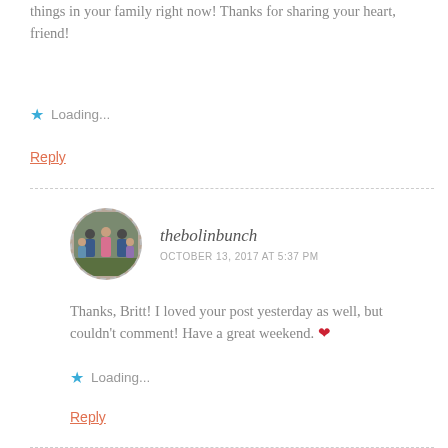things in your family right now! Thanks for sharing your heart, friend!
Loading...
Reply
thebolinbunch
OCTOBER 13, 2017 AT 5:37 PM
Thanks, Britt! I loved your post yesterday as well, but couldn't comment! Have a great weekend. ❤
Loading...
Reply